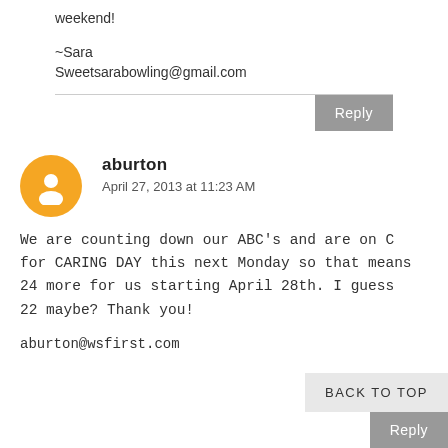weekend!
~Sara
Sweetsarabowling@gmail.com
Reply
aburton
April 27, 2013 at 11:23 AM
We are counting down our ABC's and are on C for CARING DAY this next Monday so that means 24 more for us starting April 28th. I guess 22 maybe? Thank you!
aburton@wsfirst.com
BACK TO TOP
Reply